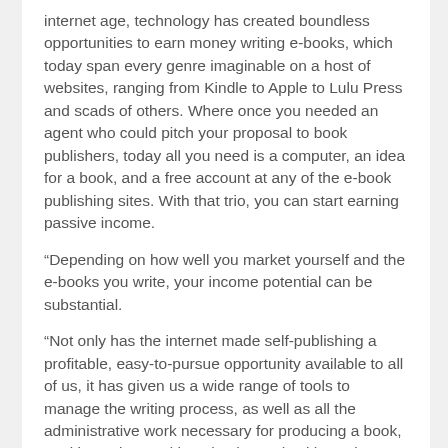internet age, technology has created boundless opportunities to earn money writing e-books, which today span every genre imaginable on a host of websites, ranging from Kindle to Apple to Lulu Press and scads of others. Where once you needed an agent who could pitch your proposal to book publishers, today all you need is a computer, an idea for a book, and a free account at any of the e-book publishing sites. With that trio, you can start earning passive income.
“Depending on how well you market yourself and the e-books you write, your income potential can be substantial.
“Not only has the internet made self-publishing a profitable, easy-to-pursue opportunity available to all of us, it has given us a wide range of tools to manage the writing process, as well as all the administrative work necessary for producing a book, tracking sales, and keeping in touch with readers.”
The full report can be found, here: 5 Unusual (but Proven) Ways to Earn from Home in 2020
Editor’s Note: Members of the media have permission to republish the article linked above once credit is given to Internationalliving.com
Further information, as well as interviews with expert authors for radio, TV or print, is available on request. Photos are also